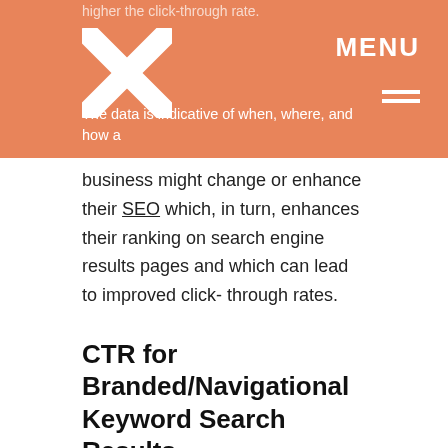higher the click-through rate.
The data is indicative of when, where, and how a business might change or enhance their SEO which, in turn, enhances their ranking on search engine results pages and which can lead to improved click-through rates.
CTR for Branded/Navigational Keyword Search Results
How a user searches for a product or service is one factor that comes into play in the click-through results. If a user already knows the product they want, they type in the company name or product brand, for example, “Kellogg’s®” or “Frost Loans®.”